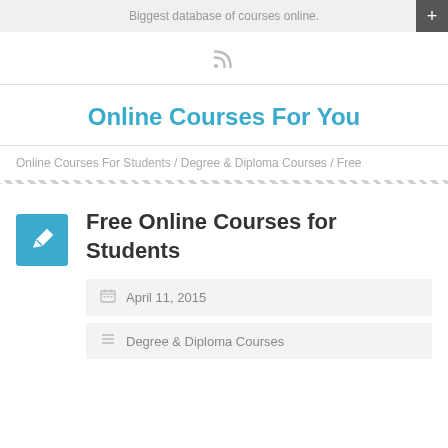Biggest database of courses online.
Online Courses For You
Online Courses For Students / Degree & Diploma Courses / Free
Free Online Courses for Students
April 11, 2015
Degree & Diploma Courses